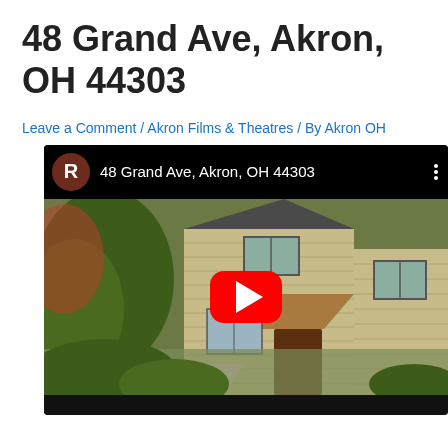48 Grand Ave, Akron, OH 44303
Leave a Comment / Akron Films & Theatres / By Akron OH
[Figure (screenshot): YouTube video embed thumbnail showing the exterior of a house at 48 Grand Ave, Akron, OH 44303. The video has a top bar with a dark circular avatar with letter R, the title text, and a vertical dots menu. A large red YouTube play button is centered over the house photo. The house exterior shows tan/beige siding with windows, a covered entry door, and surrounding green landscaping.]